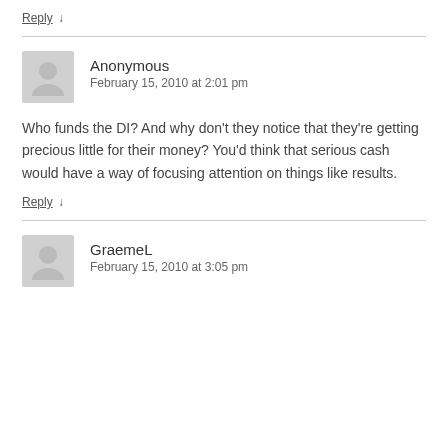Reply ↓
Anonymous
February 15, 2010 at 2:01 pm
Who funds the DI? And why don't they notice that they're getting precious little for their money? You'd think that serious cash would have a way of focusing attention on things like results.
Reply ↓
GraemeL
February 15, 2010 at 3:05 pm